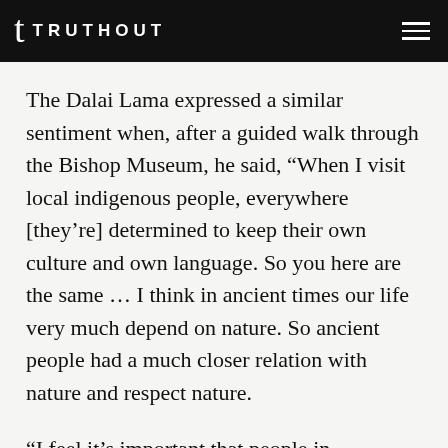TRUTHOUT
The Dalai Lama expressed a similar sentiment when, after a guided walk through the Bishop Museum, he said, “When I visit local indigenous people, everywhere [they’re] determined to keep their own culture and own language. So you here are the same … I think in ancient times our life very much depend on nature. So ancient people had a much closer relation with nature and respect nature.
“I feel it’s important that people in technologically developed nations